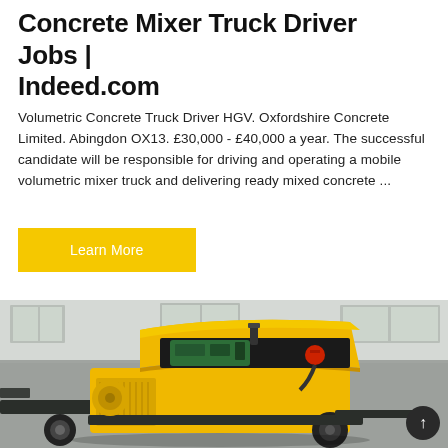Concrete Mixer Truck Driver Jobs | Indeed.com
Volumetric Concrete Truck Driver HGV. Oxfordshire Concrete Limited. Abingdon OX13. £30,000 - £40,000 a year. The successful candidate will be responsible for driving and operating a mobile volumetric mixer truck and delivering ready mixed concrete ...
Learn More
[Figure (photo): Yellow concrete pump machine with open hood showing green engine, on wheeled trailer, parked in front of a grey building with windows. A scroll-up button (dark circle with upward arrow) is overlaid at bottom right.]